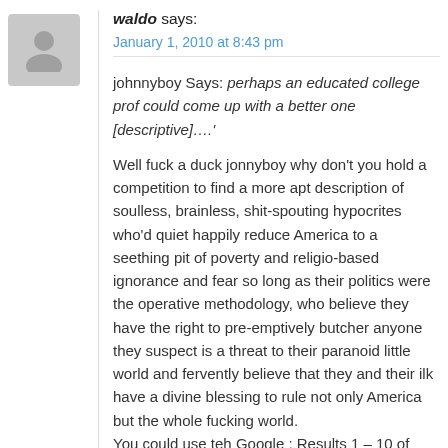waldo says:
January 1, 2010 at 8:43 pm
johnnyboy Says: perhaps an educated college prof could come up with a better one [descriptive]….'
Well fuck a duck jonnyboy why don't you hold a competition to find a more apt description of soulless, brainless, shit-spouting hypocrites who'd quiet happily reduce America to a seething pit of poverty and religio-based ignorance and fear so long as their politics were the operative methodology, who believe they have the right to pre-emptively butcher anyone they suspect is a threat to their paranoid little world and fervently believe that they and their ilk have a divine blessing to rule not only America but the whole fucking world.
You could use teh Google : Results 1 – 10 of about 200,000 for republican criminals.